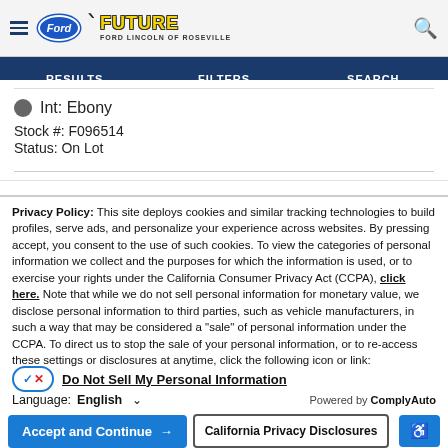Future Ford Lincoln of Roseville — RESULTS | FILTERS | SEARCH navigation
Int: Ebony
Stock #: F096514
Status: On Lot
Privacy Policy: This site deploys cookies and similar tracking technologies to build profiles, serve ads, and personalize your experience across websites. By pressing accept, you consent to the use of such cookies. To view the categories of personal information we collect and the purposes for which the information is used, or to exercise your rights under the California Consumer Privacy Act (CCPA), click here. Note that while we do not sell personal information for monetary value, we disclose personal information to third parties, such as vehicle manufacturers, in such a way that may be considered a "sale" of personal information under the CCPA. To direct us to stop the sale of your personal information, or to re-access these settings or disclosures at anytime, click the following icon or link:
Do Not Sell My Personal Information
Language: English  ∨  Powered by ComplyAuto
Accept and Continue → | California Privacy Disclosures